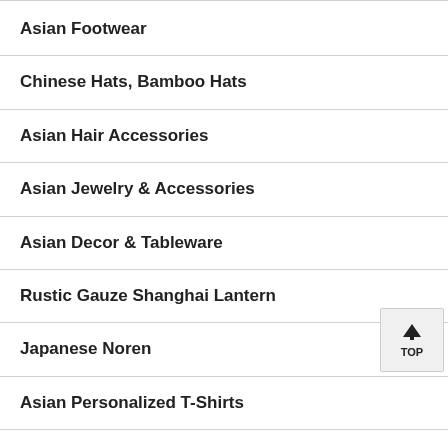Asian Footwear
Chinese Hats, Bamboo Hats
Asian Hair Accessories
Asian Jewelry & Accessories
Asian Decor & Tableware
Rustic Gauze Shanghai Lantern
Japanese Noren
Asian Personalized T-Shirts